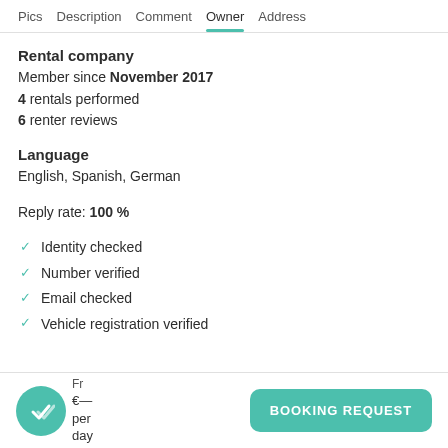Pics  Description  Comment  Owner  Address
Rental company
Member since November 2017
4 rentals performed
6 renter reviews
Language
English, Spanish, German
Reply rate: 100 %
Identity checked
Number verified
Email checked
Vehicle registration verified
Fr— €— per day  BOOKING REQUEST